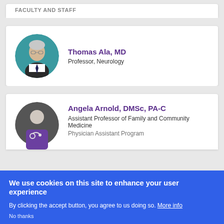FACULTY AND STAFF
[Figure (photo): Circular portrait photo of Thomas Ala, MD - elderly man with glasses in professional attire]
Thomas Ala, MD
Professor, Neurology
[Figure (illustration): Generic placeholder avatar icon with purple medical professional silhouette on dark grey circular background]
Angela Arnold, DMSc, PA-C
Assistant Professor of Family and Community Medicine
Physician Assistant Program
We use cookies on this site to enhance your user experience
By clicking the accept button, you agree to us doing so. More info
No thanks